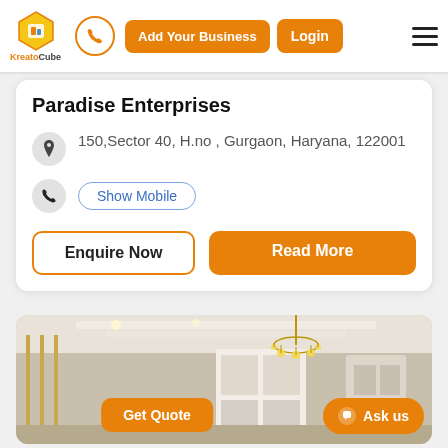KreatoCube — Add Your Business | Login
Paradise Enterprises
150,Sector 40, H.no , Gurgaon, Haryana, 122001
Show Mobile
Enquire Now
Read More
[Figure (photo): Interior room photo showing a modern living/dining area with gold chandelier, white cabinetry, and warm lighting]
Get Quote
Ask us